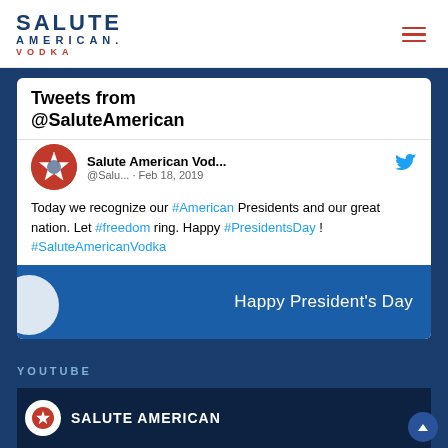SALUTE AMERICAN. VODKA
Tweets from @SaluteAmerican
Salute American Vod... @Salu... · Feb 18, 2019
Today we recognize our #American Presidents and our great nation. Let #freedom ring. Happy #PresidentsDay ! #SaluteAmericanVodka
[Figure (screenshot): Happy President's Day promotional image with blue background and white text]
YOUTUBE
[Figure (screenshot): YouTube video thumbnail showing Salute American branding]